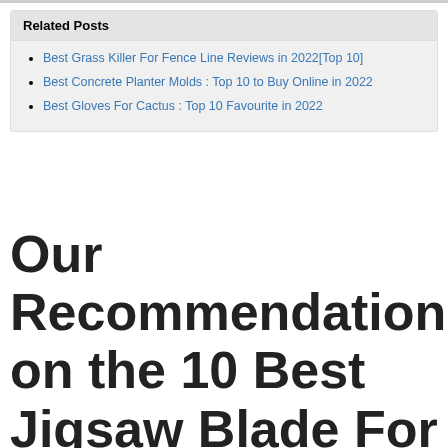Related Posts
Best Grass Killer For Fence Line Reviews in 2022[Top 10]
Best Concrete Planter Molds : Top 10 to Buy Online in 2022
Best Gloves For Cactus : Top 10 Favourite in 2022
Our Recommendation on the 10 Best Jigsaw Blade For Butcher Block